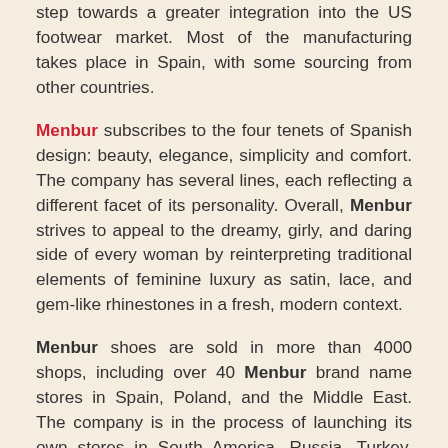step towards a greater integration into the US footwear market. Most of the manufacturing takes place in Spain, with some sourcing from other countries.
Menbur subscribes to the four tenets of Spanish design: beauty, elegance, simplicity and comfort. The company has several lines, each reflecting a different facet of its personality. Overall, Menbur strives to appeal to the dreamy, girly, and daring side of every woman by reinterpreting traditional elements of feminine luxury as satin, lace, and gem-like rhinestones in a fresh, modern context.
Menbur shoes are sold in more than 4000 shops, including over 40 Menbur brand name stores in Spain, Poland, and the Middle East. The company is in the process of launching its own stores in South America, Russia, Turkey, and South East Asia.
Menbur's online shop at www.menburclub.com ships